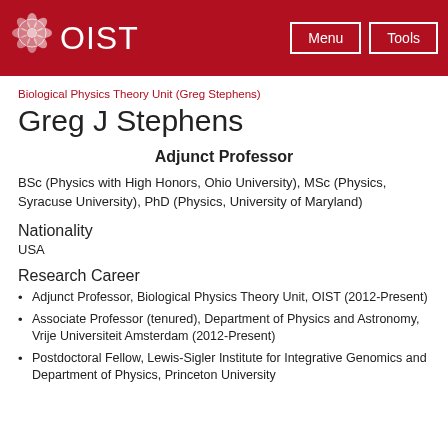OIST | Menu | Tools
Biological Physics Theory Unit (Greg Stephens)
Greg J Stephens
Adjunct Professor
BSc (Physics with High Honors, Ohio University), MSc (Physics, Syracuse University), PhD (Physics, University of Maryland)
Nationality
USA
Research Career
Adjunct Professor, Biological Physics Theory Unit, OIST (2012-Present)
Associate Professor (tenured), Department of Physics and Astronomy, Vrije Universiteit Amsterdam (2012-Present)
Postdoctoral Fellow, Lewis-Sigler Institute for Integrative Genomics and Department of Physics, Princeton University